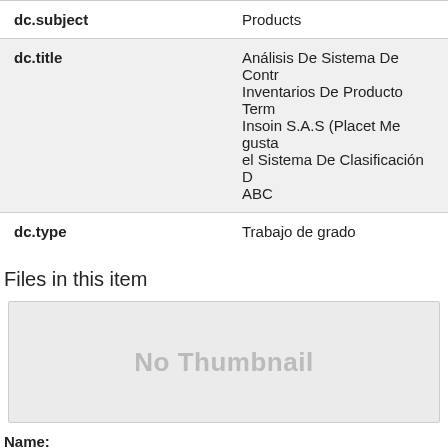| Field | Value |
| --- | --- |
| dc.subject | Products |
| dc.title | Análisis De Sistema De Contr Inventarios De Producto Term Insoin S.A.S (Placet Me gusta el Sistema De Clasificación D ABC |
| dc.type | Trabajo de grado |
Files in this item
[Figure (other): No Thumbnail placeholder box]
Name:
license_rdf
Size: